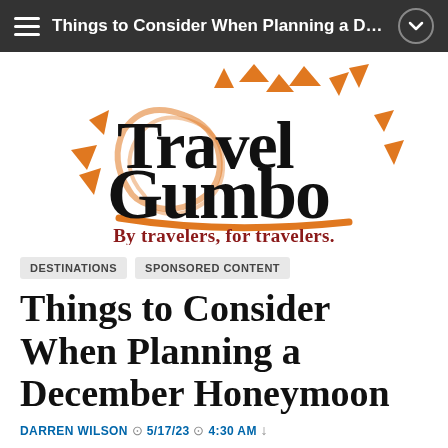Things to Consider When Planning a Dec...
[Figure (logo): Travel Gumbo logo — stylized bold black text 'Travel Gumbo' with orange decorative swirls, triangles and sun-burst shapes. Tagline reads 'By travelers, for travelers.' in dark red bold serif text.]
DESTINATIONS   SPONSORED CONTENT
Things to Consider When Planning a December Honeymoon
DARREN WILSON  5/17/23  4:30 AM